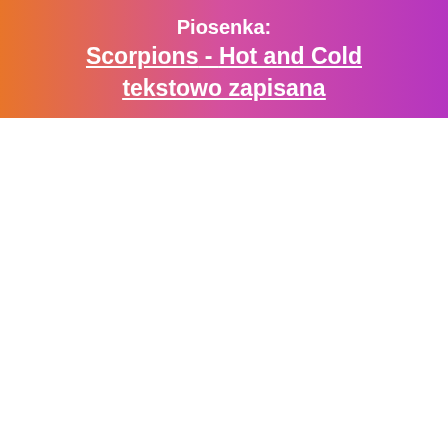Piosenka: Scorpions - Hot and Cold tekstowo zapisana